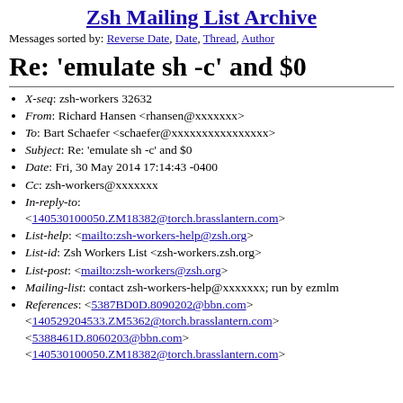Zsh Mailing List Archive
Messages sorted by: Reverse Date, Date, Thread, Author
Re: 'emulate sh -c' and $0
X-seq: zsh-workers 32632
From: Richard Hansen <rhansen@xxxxxxx>
To: Bart Schaefer <schaefer@xxxxxxxxxxxxxxxx>
Subject: Re: 'emulate sh -c' and $0
Date: Fri, 30 May 2014 17:14:43 -0400
Cc: zsh-workers@xxxxxxx
In-reply-to: <140530100050.ZM18382@torch.brasslantern.com>
List-help: <mailto:zsh-workers-help@zsh.org>
List-id: Zsh Workers List <zsh-workers.zsh.org>
List-post: <mailto:zsh-workers@zsh.org>
Mailing-list: contact zsh-workers-help@xxxxxxx; run by ezmlm
References: <5387BD0D.8090202@bbn.com> <140529204533.ZM5362@torch.brasslantern.com> <5388461D.8060203@bbn.com> <140530100050.ZM18382@torch.brasslantern.com>